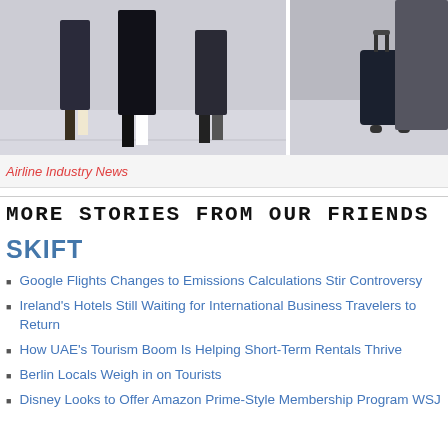[Figure (photo): Airport terminal scene: people walking with luggage on polished floor, two photo panels side by side]
Airline Industry News
MORE STORIES FROM OUR FRIENDS
SKIFT
Google Flights Changes to Emissions Calculations Stir Controversy
Ireland's Hotels Still Waiting for International Business Travelers to Return
How UAE's Tourism Boom Is Helping Short-Term Rentals Thrive
Berlin Locals Weigh in on Tourists
Disney Looks to Offer Amazon Prime-Style Membership Program WSJ